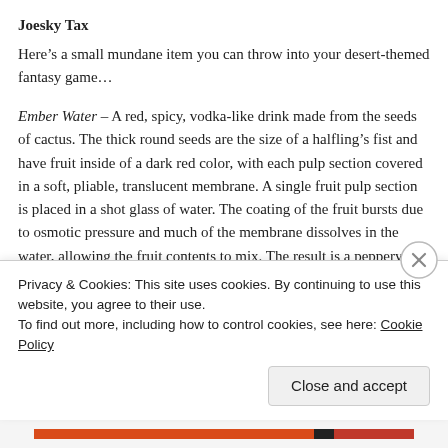Joesky Tax
Here's a small mundane item you can throw into your desert-themed fantasy game…
Ember Water – A red, spicy, vodka-like drink made from the seeds of cactus. The thick round seeds are the size of a halfling's fist and have fruit inside of a dark red color, with each pulp section covered in a soft, pliable, translucent membrane. A single fruit pulp section is placed in a shot glass of water. The coating of the fruit bursts due to osmotic pressure and much of the membrane dissolves in the water, allowing the fruit contents to mix. The result is a peppery drink of 30-40% alcohol that has a clear, deep red color.
The fruit and pulp seeds can be eaten, however while they do have some moisture and posses a high alcohol content, they are unpleasant to eat
Privacy & Cookies: This site uses cookies. By continuing to use this website, you agree to their use.
To find out more, including how to control cookies, see here: Cookie Policy
Close and accept